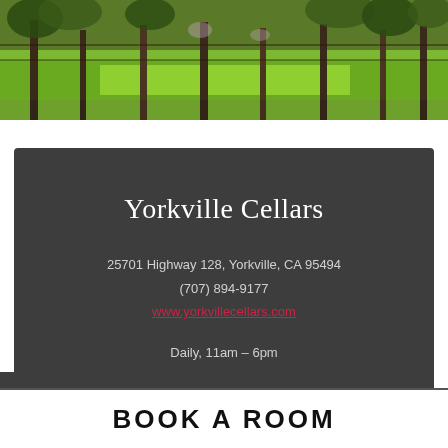[Figure (photo): Panoramic photo of a vineyard in early spring — bare grapevines on trellises with bright green grass underneath, trees in background]
Yorkville Cellars
25701 Highway 128, Yorkville, CA 95494
(707) 894-9177
www.yorkvillecellars.com

Daily, 11am – 6pm
BOOK A ROOM